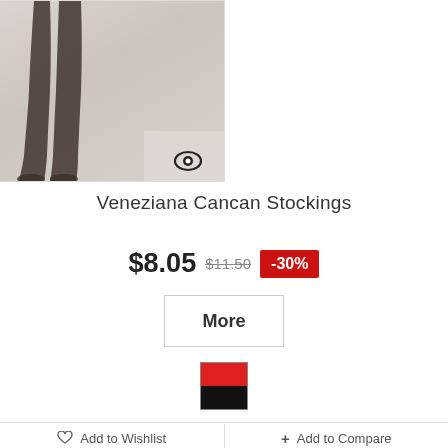[Figure (photo): Product photo showing legs wearing sheer dark stockings on a light gray background, with an eye/quick-view icon in the bottom right corner of the image]
Veneziana Cancan Stockings
$8.05  $11.50  -30%
More
[Figure (other): Color swatch showing a split red/black square color option]
Add to Wishlist
+ Add to Compare